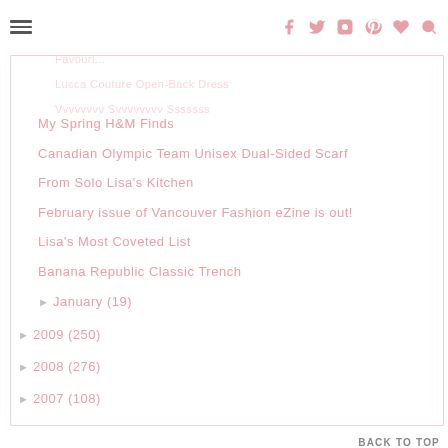Favourl... | Lucca Couture Open-Back Dress
My Spring H&M Finds
Canadian Olympic Team Unisex Dual-Sided Scarf
From Solo Lisa's Kitchen
February issue of Vancouver Fashion eZine is out!
Lisa's Most Coveted List
Banana Republic Classic Trench
▶ January (19)
▶ 2009 (250)
▶ 2008 (276)
▶ 2007 (108)
BACK TO TOP